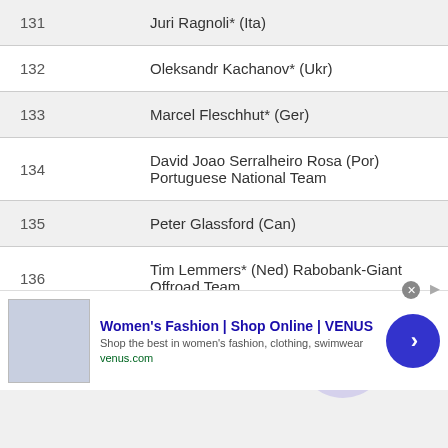| # | Name |
| --- | --- |
| 131 | Juri Ragnoli* (Ita) |
| 132 | Oleksandr Kachanov* (Ukr) |
| 133 | Marcel Fleschhut* (Ger) |
| 134 | David Joao Serralheiro Rosa (Por) Portuguese National Team |
| 135 | Peter Glassford (Can) |
| 136 | Tim Lemmers* (Ned) Rabobank-Giant Offroad Team |
| 137 | Sebastian Szraucner (Ger) |
[Figure (other): Advertisement banner for Women's Fashion | Shop Online | VENUS. Shows website screenshot thumbnail, bold blue title, description text 'Shop the best in women's fashion, clothing, swimwear', URL venus.com, and a dark blue circular arrow button.]